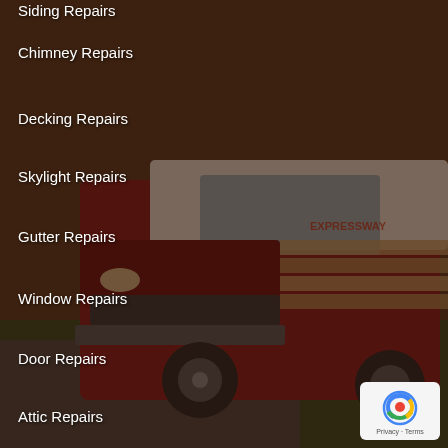[Figure (photo): A red and white commercial van/truck parked outdoors, partially visible, with company branding on the side. Background shows outdoor environment with grass and road. Dark brownish overlay applied over the image.]
Siding Repairs
Chimney Repairs
Decking Repairs
Skylight Repairs
Gutter Repairs
Window Repairs
Door Repairs
Attic Repairs
And whatever else a job calls for!
WHY EXPRESSWAY?
See Our Google Reviews
We're Long Islanders
We're Licensed & Fully Insured
Licensed In Nassau & Suffolk County
We're Dedicated To Quality
We Have A-1 Customer Support
[Figure (logo): Google reCAPTCHA badge with Privacy and Terms text]